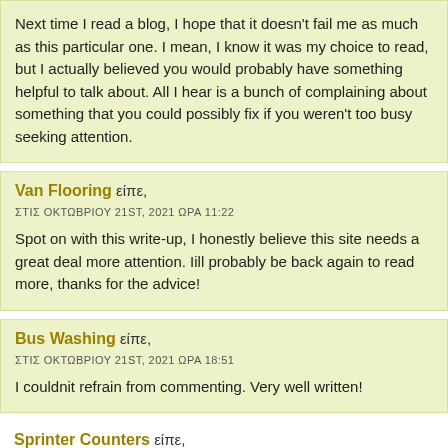Next time I read a blog, I hope that it doesn't fail me as much as this particular one. I mean, I know it was my choice to read, but I actually believed you would probably have something helpful to talk about. All I hear is a bunch of complaining about something that you could possibly fix if you weren't too busy seeking attention.
Van Flooring είπε,
ΣΤΙΣ ΟΚΤΩΒΡΙΟΥ 21ST, 2021 ΩΡΑ 11:22
Spot on with this write-up, I honestly believe this site needs a great deal more attention. Iill probably be back again to read more, thanks for the advice!
Bus Washing είπε,
ΣΤΙΣ ΟΚΤΩΒΡΙΟΥ 21ST, 2021 ΩΡΑ 18:51
I couldnit refrain from commenting. Very well written!
Sprinter Counters είπε,
ΣΤΙΣ ΟΚΤΩΒΡΙΟΥ 22ND, 2021 ΩΡΑ 11:12
I really like reading an article that will make men and women think. Also, thanks for allowing me to comment!